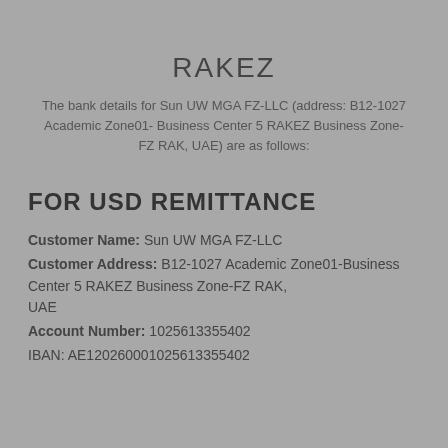RAKEZ
The bank details for Sun UW MGA FZ-LLC (address: B12-1027 Academic Zone01-Business Center 5 RAKEZ Business Zone-FZ RAK, UAE) are as follows:
FOR USD REMITTANCE
Customer Name: Sun UW MGA FZ-LLC
Customer Address: B12-1027 Academic Zone01-Business Center 5 RAKEZ Business Zone-FZ RAK, UAE
Account Number: 1025613355402
IBAN: AE120260001025613355402